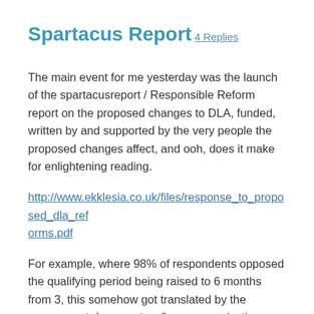Spartacus Report
4 Replies
The main event for me yesterday was the launch of the spartacusreport / Responsible Reform report on the proposed changes to DLA, funded, written by and supported by the very people the proposed changes affect, and ooh, does it make for enlightening reading.
http://www.ekklesia.co.uk/files/response_to_proposed_dla_reforms.pdf
For example, where 98% of respondents opposed the qualifying period being raised to 6 months from 3, this somehow got translated by the government document as “some organisations were in favour of our proposal to extend the Qualifying Period from 3 months to 6 months